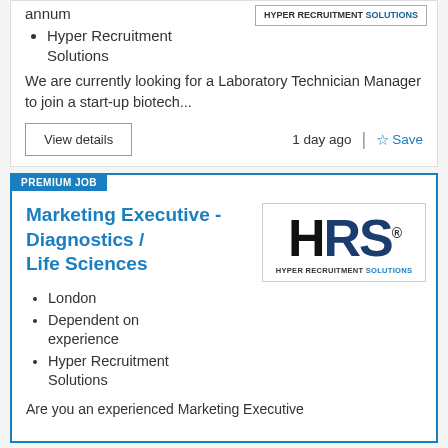annum
Hyper Recruitment Solutions
[Figure (logo): Hyper Recruitment Solutions logo — text only, small bordered box]
We are currently looking for a Laboratory Technician Manager to join a start-up biotech...
View details
1 day ago
Save
PREMIUM JOB
Marketing Executive - Diagnostics / Life Sciences
London
Dependent on experience
Hyper Recruitment Solutions
[Figure (logo): HRS Hyper Recruitment Solutions logo — large HRS letters with subtitle]
Are you an experienced Marketing Executive looking for a new role...